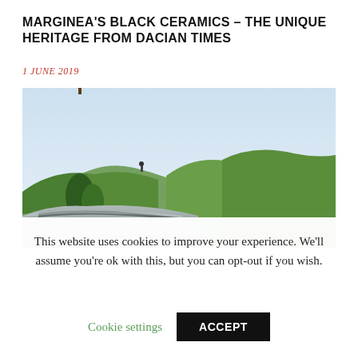MARGINEA'S BLACK CERAMICS – THE UNIQUE HERITAGE FROM DACIAN TIMES
1 JUNE 2019
[Figure (photo): Landscape photo showing green hills under a pale blue sky, with a large rock or stone structure in the foreground and a small figure on a hilltop in the background.]
This website uses cookies to improve your experience. We'll assume you're ok with this, but you can opt-out if you wish.
Cookie settings   ACCEPT